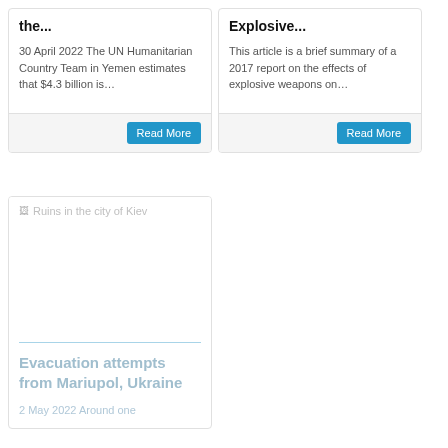the...
30 April 2022 The UN Humanitarian Country Team in Yemen estimates that $4.3 billion is…
Read More
Explosive...
This article is a brief summary of a 2017 report on the effects of explosive weapons on…
Read More
[Figure (photo): Ruins in the city of Kiev — broken image placeholder]
Evacuation attempts from Mariupol, Ukraine
2 May 2022 Around one